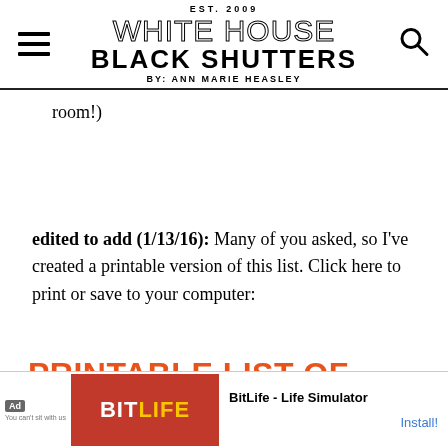EST. 2009 WHITE HOUSE BLACK SHUTTERS BY: ANN MARIE HEASLEY
room!)
edited to add (1/13/16): Many of you asked, so I've created a printable version of this list. Click here to print or save to your computer:
PRINTABLE LIST OF AREAS TO DECLUTTER
[Figure (screenshot): Ad banner: BitLife - Life Simulator app advertisement with Install button]